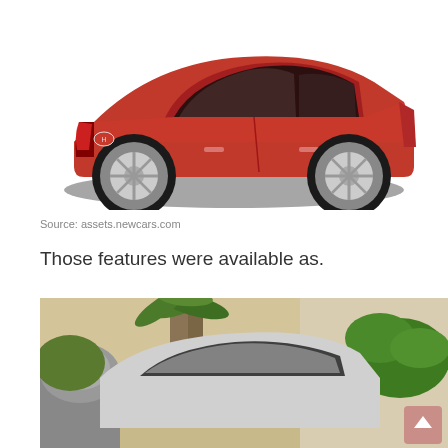[Figure (photo): Red sedan car (rear three-quarter view) on white background, showing the rear and side profile of a red Hyundai Elantra-style sedan with silver alloy wheels.]
Source: assets.newcars.com
Those features were available as.
[Figure (photo): Silver/white car shown from above in an outdoor setting with tropical plants, a water fountain, and a beige wall in the background. A pink scroll-to-top button is visible in the lower right.]